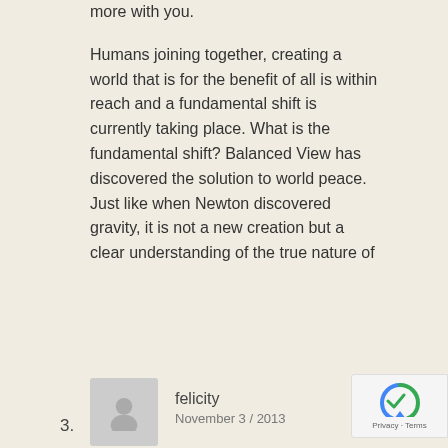more with you.
Humans joining together, creating a world that is for the benefit of all is within reach and a fundamental shift is currently taking place. What is the fundamental shift? Balanced View has discovered the solution to world peace. Just like when Newton discovered gravity, it is not a new creation but a clear understanding of the true nature of
3. felicity November 3 / 2013